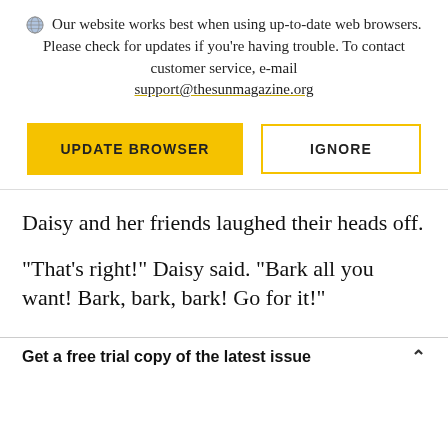Our website works best when using up-to-date web browsers. Please check for updates if you're having trouble. To contact customer service, e-mail support@thesunmagazine.org
[Figure (other): Two buttons: 'UPDATE BROWSER' (yellow filled) and 'IGNORE' (yellow outlined)]
Daisy and her friends laughed their heads off.
“That’s right!” Daisy said. “Bark all you want! Bark, bark, bark! Go for it!”
Get a free trial copy of the latest issue